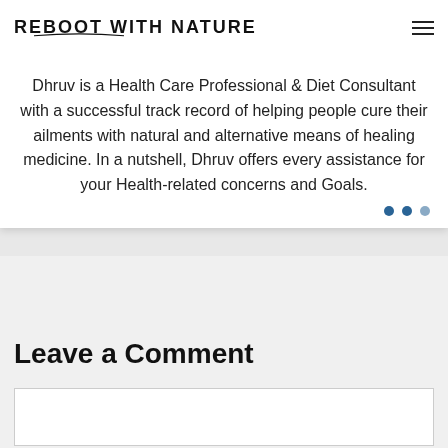REBOOT WITH NATURE
Dhruv is a Health Care Professional & Diet Consultant with a successful track record of helping people cure their ailments with natural and alternative means of healing medicine. In a nutshell, Dhruv offers every assistance for your Health-related concerns and Goals.
Leave a Comment